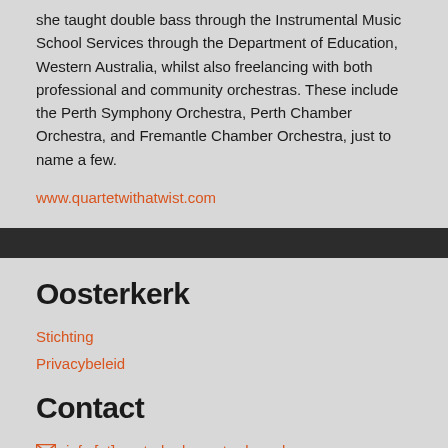she taught double bass through the Instrumental Music School Services through the Department of Education, Western Australia, whilst also freelancing with both professional and community orchestras. These include the Perth Symphony Orchestra, Perth Chamber Orchestra, and Fremantle Chamber Orchestra, just to name a few.
www.quartetwithatwist.com
Oosterkerk
Stichting
Privacybeleid
Contact
info [at] oosterkerk-amsterdam.nl